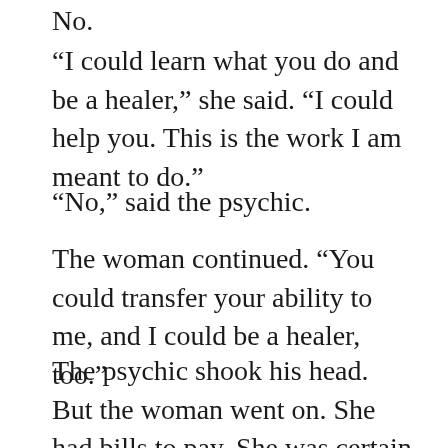No.
“I could learn what you do and be a healer,” she said. “I could help you. This is the work I am meant to do.”
“No,” said the psychic.
The woman continued. “You could transfer your ability to me, and I could be a healer, too.”
The psychic shook his head. But the woman went on. She had bills to pay. She was certain that she could earn